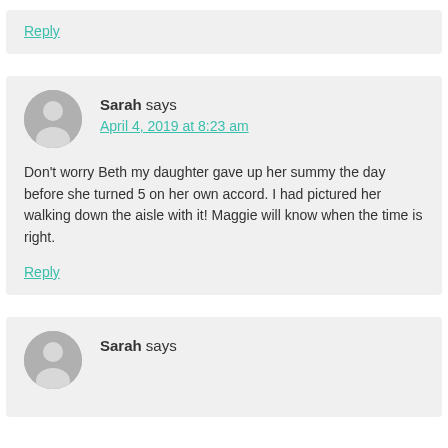Reply
Sarah says
April 4, 2019 at 8:23 am
Don't worry Beth my daughter gave up her summy the day before she turned 5 on her own accord. I had pictured her walking down the aisle with it! Maggie will know when the time is right.
Reply
Sarah says